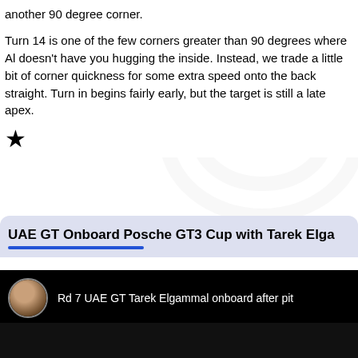another 90 degree corner.
Turn 14 is one of the few corners greater than 90 degrees where Al doesn't have you hugging the inside. Instead, we trade a little bit of corner quickness for some extra speed onto the back straight. Turn in begins fairly early, but the target is still a late apex.
★
UAE GT Onboard Posche GT3 Cup with Tarek Elga
[Figure (screenshot): YouTube video thumbnail showing a driver onboard video titled 'Rd 7 UAE GT Tarek Elgammal onboard after pit' with a circular avatar of the driver wearing sunglasses on a dark background]